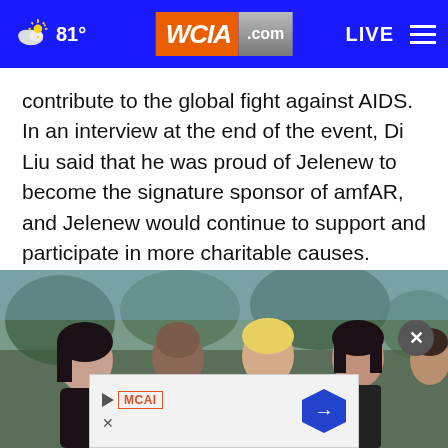81° WCIA.com LIVE
contribute to the global fight against AIDS. In an interview at the end of the event, Di Liu said that he was proud of Jelenew to become the signature sponsor of amfAR, and Jelenew would continue to support and participate in more charitable causes.
[Figure (photo): Group photo of several people at a formal event, including a woman with dark hair, a bald man in a suit, a person with blonde hair, and a woman with dark shoulder-length hair. An advertisement overlay is visible at the bottom of the image.]